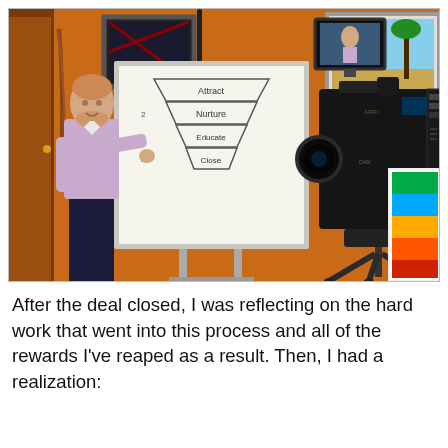[Figure (photo): A man in a light purple shirt stands next to a whiteboard displaying a funnel diagram with four stages (Attract, Nurture, Educate, Close) numbered 1-4. He is in an orange-walled room with framed art on the walls, a microphone boom overhead, and a professional video camera on a tripod to the right.]
After the deal closed, I was reflecting on the hard work that went into this process and all of the rewards I've reaped as a result. Then, I had a realization: